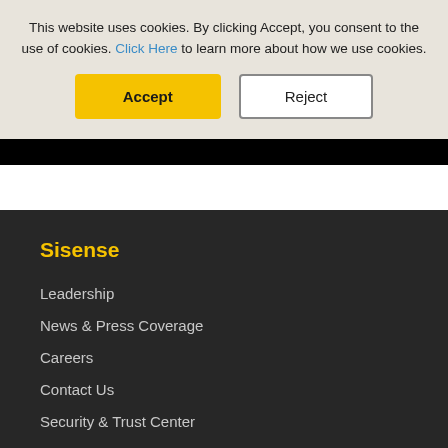This website uses cookies. By clicking Accept, you consent to the use of cookies. Click Here to learn more about how we use cookies.
Accept
Reject
Sisense
Leadership
News & Press Coverage
Careers
Contact Us
Security & Trust Center